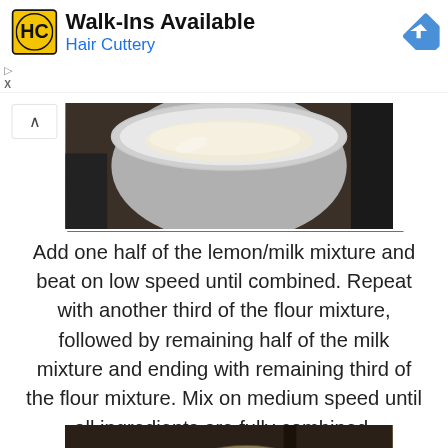[Figure (photo): Hair Cuttery advertisement banner with HC logo, 'Walk-Ins Available' heading, 'Hair Cuttery' subtitle in blue, and navigation arrow icon]
[Figure (photo): Top photo showing flour being added to a mixing bowl on a stovetop]
Add one half of the lemon/milk mixture and beat on low speed until combined. Repeat with another third of the flour mixture, followed by remaining half of the milk mixture and ending with remaining third of the flour mixture. Mix on medium speed until all ingredients are fully combined.
[Figure (photo): Bottom photo showing milk or cream being poured into a mixing bowl with batter]